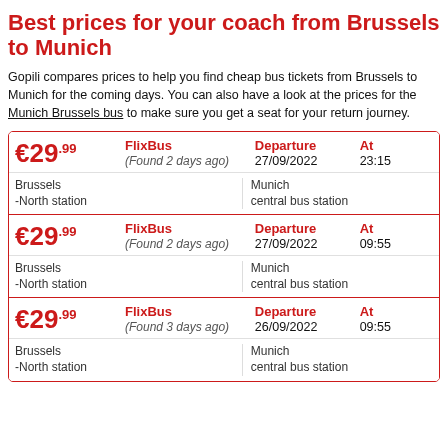Best prices for your coach from Brussels to Munich
Gopili compares prices to help you find cheap bus tickets from Brussels to Munich for the coming days. You can also have a look at the prices for the Munich Brussels bus to make sure you get a seat for your return journey.
| Price | Provider | Departure | At |
| --- | --- | --- | --- |
| €29.99 | FlixBus (Found 2 days ago) | 27/09/2022 | 23:15 |
| Brussels -North station |  | Munich central bus station |  |
| €29.99 | FlixBus (Found 2 days ago) | 27/09/2022 | 09:55 |
| Brussels -North station |  | Munich central bus station |  |
| €29.99 | FlixBus (Found 3 days ago) | 26/09/2022 | 09:55 |
| Brussels -North station |  | Munich central bus station |  |